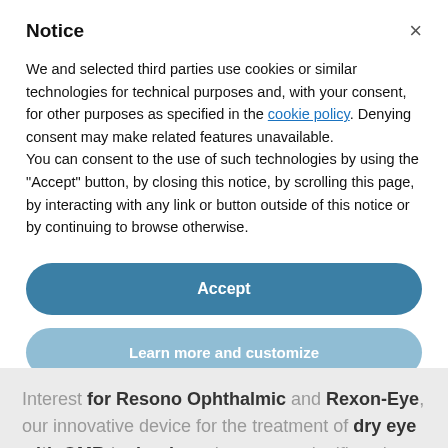Notice
We and selected third parties use cookies or similar technologies for technical purposes and, with your consent, for other purposes as specified in the cookie policy. Denying consent may make related features unavailable.
You can consent to the use of such technologies by using the “Accept” button, by closing this notice, by scrolling this page, by interacting with any link or button outside of this notice or by continuing to browse otherwise.
Accept
Learn more and customize
Interest for Resono Ophthalmic and Rexon-Eye, our innovative device for the treatment of dry eye with QMR technology, has grown significantly over the